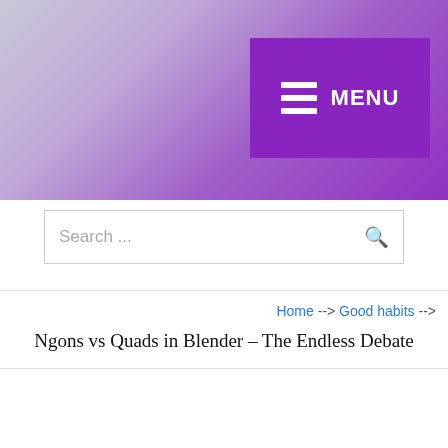[Figure (screenshot): Website header with purple gradient background and MENU button in top right corner]
Search ...
Home --> Good habits --> Ngons vs Quads in Blender – The Endless Debate
Ngons vs Quads in Blender – The Endless Debate